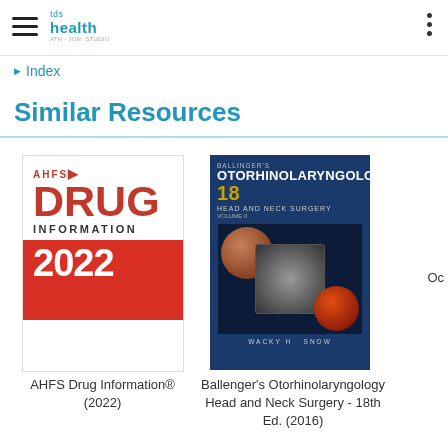tds health
Index
Similar Resources
[Figure (illustration): Book cover: AHFS Drug Information 2022, published by ashp. White top with red DRUG text, red band with 2022 in white.]
AHFS Drug Information® (2022)
[Figure (illustration): Book cover: Ballenger's Otorhinolaryngology 18 Head and Neck Surgery, Volume II, by Wackym and Snow. Dark blue cover with medical imaging scans.]
Ballenger's Otorhinolaryngology Head and Neck Surgery - 18th Ed. (2016)